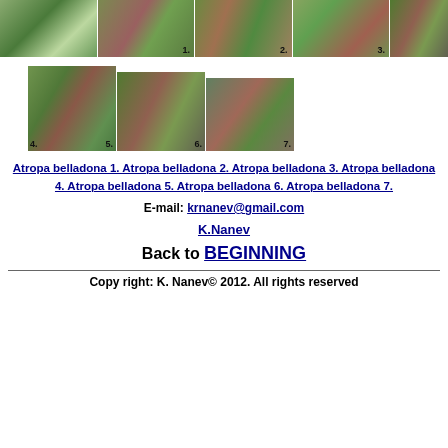[Figure (photo): Row of 4 photos of Atropa belladona plant numbered 1-3 (partial 4th) showing foliage and flowers]
[Figure (photo): Row of photos of Atropa belladona flowers numbered 4-7]
Atropa belladona 1. Atropa belladona 2. Atropa belladona 3. Atropa belladona 4. Atropa belladona 5. Atropa belladona 6. Atropa belladona 7.
E-mail: krnanev@gmail.com
K.Nanev
Back to BEGINNING
Copy right: K. Nanev© 2012. All rights reserved